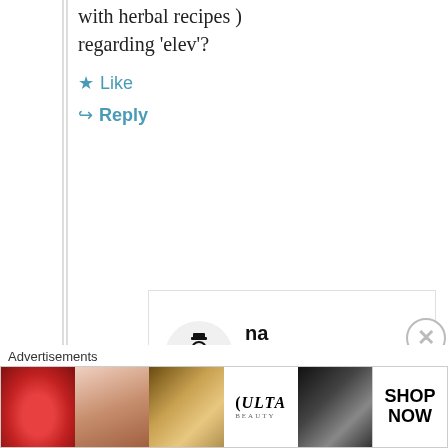with herbal recipes ) regarding 'elev'?
Like
Reply
[Figure (screenshot): Nested comment reply box with a user avatar (stick figure with top hat) and username 'name' and date 'October 2,']
name
October 2,
Advertisements
[Figure (photo): Advertisement banner showing beauty/makeup images including lips, makeup brush, eye, Ulta Beauty logo, eyes with dramatic makeup, and SHOP NOW button]